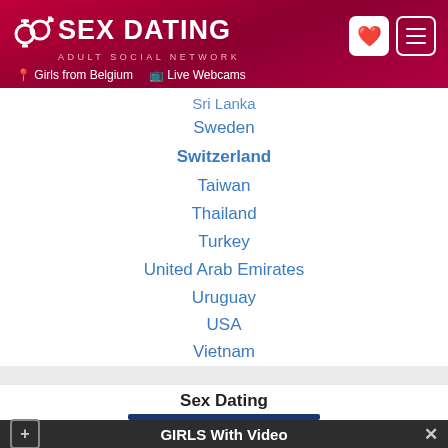SEX DATING ADULT SOCIAL NETWORK | Girls from Belgium | Live Webcams
Sri Lanka
Sweden
Switzerland
Taiwan
Thailand
Turkey
United Arab Emirates
Uruguay
USA
Vietnam
Sex Dating
GIRLS With Video
SHOW ME